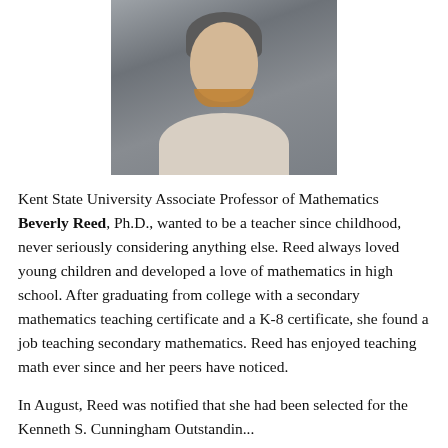[Figure (photo): Portrait photo of Beverly Reed, a woman with short gray hair, smiling, wearing a light cardigan and layered gold/brown necklace, against a gray background]
Kent State University Associate Professor of Mathematics Beverly Reed, Ph.D., wanted to be a teacher since childhood, never seriously considering anything else. Reed always loved young children and developed a love of mathematics in high school. After graduating from college with a secondary mathematics teaching certificate and a K-8 certificate, she found a job teaching secondary mathematics. Reed has enjoyed teaching math ever since and her peers have noticed.
In August, Reed was notified that she had been selected for the Kenneth S. Cunningham Outstanding...